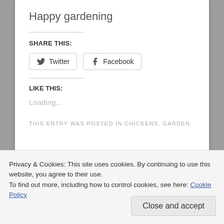Happy gardening
SHARE THIS:
[Figure (other): Twitter and Facebook share buttons with icons]
LIKE THIS:
Loading...
THIS ENTRY WAS POSTED IN CHICKENS, GARDEN
Privacy & Cookies: This site uses cookies. By continuing to use this website, you agree to their use.
To find out more, including how to control cookies, see here: Cookie Policy